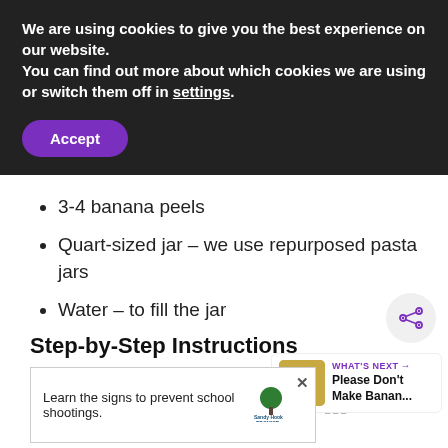We are using cookies to give you the best experience on our website.
You can find out more about which cookies we are using or switch them off in settings.
Accept
3-4 banana peels
Quart-sized jar – we use repurposed pasta jars
Water – to fill the jar
Step-by-Step Instructions
[Figure (screenshot): What's Next widget showing 'Please Don't Make Banan...' with a food image thumbnail]
[Figure (screenshot): Advertisement: Learn the signs to prevent school shootings. Sandy Hook Promise logo.]